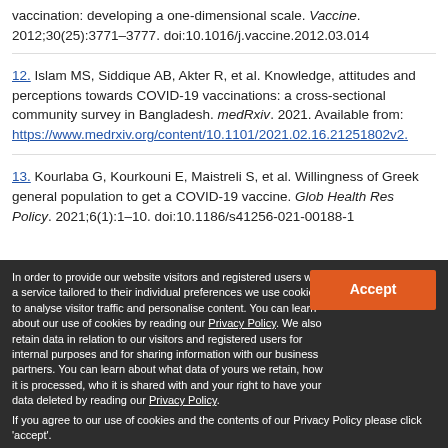vaccination: developing a one-dimensional scale. Vaccine. 2012;30(25):3771–3777. doi:10.1016/j.vaccine.2012.03.014
12. Islam MS, Siddique AB, Akter R, et al. Knowledge, attitudes and perceptions towards COVID-19 vaccinations: a cross-sectional community survey in Bangladesh. medRxiv. 2021. Available from: https://www.medrxiv.org/content/10.1101/2021.02.16.21251802v2.
13. Kourlaba G, Kourkouni E, Maistreli S, et al. Willingness of Greek general population to get a COVID-19 vaccine. Glob Health Res Policy. 2021;6(1):1–10. doi:10.1186/s41256-021-00188-1
In order to provide our website visitors and registered users with a service tailored to their individual preferences we use cookies to analyse visitor traffic and personalise content. You can learn about our use of cookies by reading our Privacy Policy. We also retain data in relation to our visitors and registered users for internal purposes and for sharing information with our business partners. You can learn about what data of yours we retain, how it is processed, who it is shared with and your right to have your data deleted by reading our Privacy Policy. If you agree to our use of cookies and the contents of our Privacy Policy please click 'accept'.